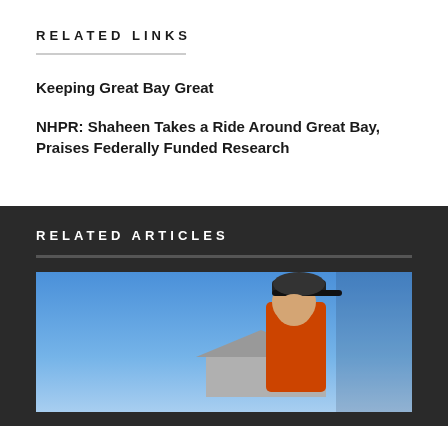RELATED LINKS
Keeping Great Bay Great
NHPR: Shaheen Takes a Ride Around Great Bay, Praises Federally Funded Research
RELATED ARTICLES
[Figure (photo): Person wearing a black baseball cap and orange shirt, looking down, with a house rooftop and blue sky in the background]